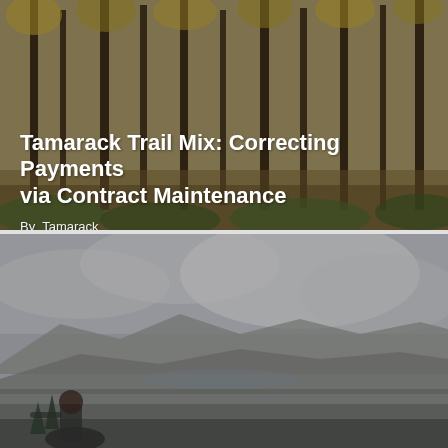[Figure (photo): Forest scene with tall pine trees and autumn foliage, golden-brown tones, serving as background for article header]
Tamarack Trail Mix: Correcting Payments via Contract Maintenance
By  Tamarack
Aug 23, 2022
[Figure (photo): Outdoor landscape photo showing rolling hills and mountains under overcast sky, with a person visible in the lower left foreground]